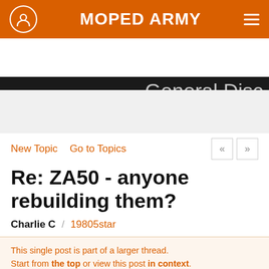MOPED ARMY
General Discussion
New Topic   Go to Topics
Re: ZA50 - anyone rebuilding them?
Charlie C / 19805star
Jan 11, 2021 10:53AM
This single post is part of a larger thread. Start from the top or view this post in context.